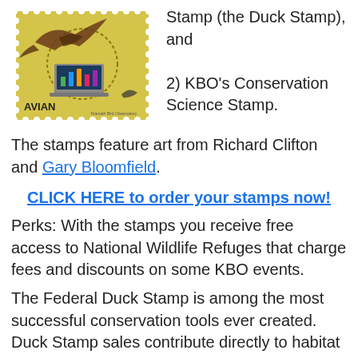[Figure (illustration): A postage stamp with a golden/yellow background featuring a bird and a laptop computer with a bar chart on its screen, labeled 'AVIAN' at the bottom left, with decorative perforated edges.]
Stamp (the Duck Stamp), and

2) KBO's Conservation Science Stamp.
The stamps feature art from Richard Clifton and Gary Bloomfield.
CLICK HERE to order your stamps now!
Perks: With the stamps you receive free access to National Wildlife Refuges that charge fees and discounts on some KBO events.
The Federal Duck Stamp is among the most successful conservation tools ever created. Duck Stamp sales contribute directly to habitat conservation on our National Wildlife Refuges. KBO's Conservation Science Stamp builds on this success by bringing additional support and attention to our regional science-driven